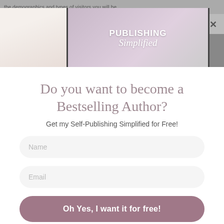[Figure (screenshot): Top strip showing blurred webpage text: 'the demographics and types of visitors you will be']
[Figure (illustration): Banner image showing 'PUBLISHING Simplified' text overlay with a woman reading, left thumbnail book cover area, and an X close button]
Do you want to become a Bestselling Author?
Get my Self-Publishing Simplified for Free!
Name
Email
Oh Yes, I want it for free!